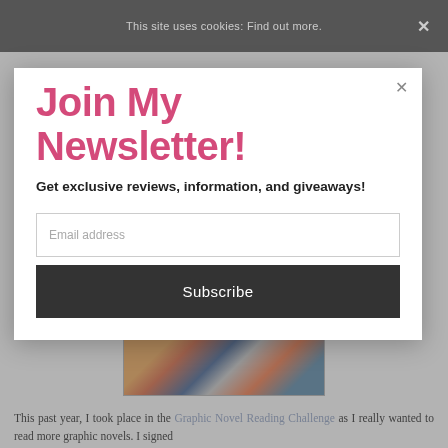This site uses cookies: Find out more.
Join My Newsletter!
Get exclusive reviews, information, and giveaways!
Email address
Subscribe
[Figure (illustration): Partial view of a comic book style illustration showing colorful characters]
This past year, I took place in the Graphic Novel Reading Challenge as I really wanted to read more graphic novels. I signed